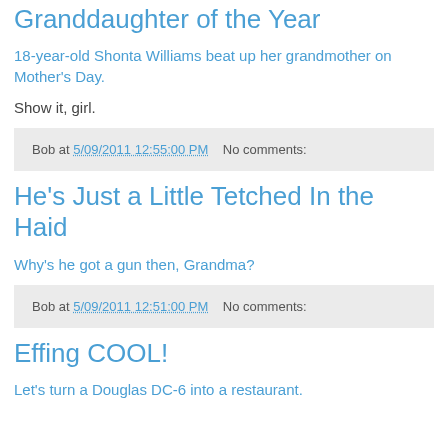Granddaughter of the Year
18-year-old Shonta Williams beat up her grandmother on Mother's Day.
Show it, girl.
Bob at 5/09/2011 12:55:00 PM    No comments:
He's Just a Little Tetched In the Haid
Why's he got a gun then, Grandma?
Bob at 5/09/2011 12:51:00 PM    No comments:
Effing COOL!
Let's turn a Douglas DC-6 into a restaurant.